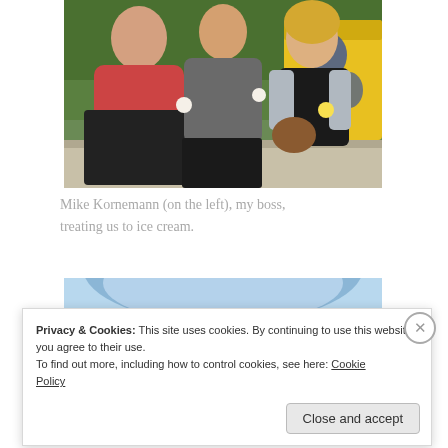[Figure (photo): Three people standing outdoors in front of a yellow food truck with green trees in background. Left person wears a red/pink polo shirt, middle person wears gray, right person is a blonde woman in a black top with gray cardigan. They appear to be eating ice cream.]
Mike Kornemann (on the left), my boss, treating us to ice cream.
[Figure (photo): Partial view of a second image showing blue/light colored background, partially obscured by cookie banner.]
Privacy & Cookies: This site uses cookies. By continuing to use this website, you agree to their use.
To find out more, including how to control cookies, see here: Cookie Policy
Close and accept